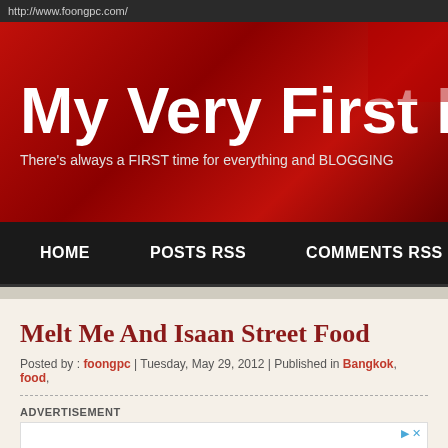http://www.foongpc.com/
My Very First Blo
There's always a FIRST time for everything and BLOGGING
HOME    POSTS RSS    COMMENTS RSS
Melt Me And Isaan Street Food
Posted by : foongpc | Tuesday, May 29, 2012 | Published in Bangkok, food,
ADVERTISEMENT